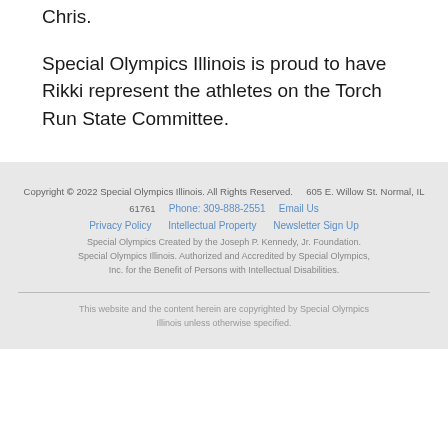Chris.
Special Olympics Illinois is proud to have Rikki represent the athletes on the Torch Run State Committee.
Copyright © 2022 Special Olympics Illinois. All Rights Reserved.    605 E. Willow St. Normal, IL 61761    Phone: 309-888-2551    Email Us    Privacy Policy    Intellectual Property    Newsletter Sign Up    Special Olympics Created by the Joseph P. Kennedy, Jr. Foundation. Special Olympics Illinois. Authorized and Accredited by Special Olympics, Inc. for the Benefit of Persons with Intellectual Disabilities.
This website and the content herein are copyrighted by Special Olympics Illinois unless otherwise specified.